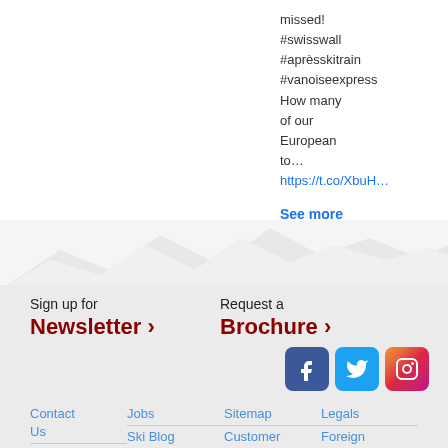missed!
#swisswall
#aprèsskitrain
#vanoiseexpress
How many of our European to…
https://t.co/XbuH…
See more
[Figure (illustration): Snow-capped mountain silhouette against white sky, footer border element]
Sign up for
Newsletter ›
Request a
Brochure ›
[Figure (logo): Facebook logo icon - blue rounded square]
[Figure (logo): Twitter logo icon - blue rounded square]
[Figure (logo): Instagram logo icon - gradient rounded square]
Contact Us
Jobs
Sitemap
Legals
Ski Blog
Customer
Foreign